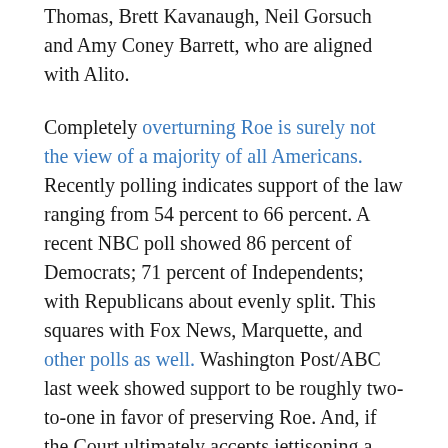Thomas, Brett Kavanaugh, Neil Gorsuch and Amy Coney Barrett, who are aligned with Alito.
Completely overturning Roe is surely not the view of a majority of all Americans. Recently polling indicates support of the law ranging from 54 percent to 66 percent. A recent NBC poll showed 86 percent of Democrats; 71 percent of Independents; with Republicans about evenly split. This squares with Fox News, Marquette, and other polls as well. Washington Post/ABC last week showed support to be roughly two-to-one in favor of preserving Roe. And, if the Court ultimately accepts jettisoning a Constitutional right to privacy on which Roe is based, what about contraception? What about gay marriage? What about